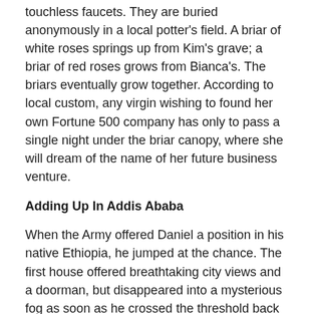touchless faucets. They are buried anonymously in a local potter's field. A briar of white roses springs up from Kim's grave; a briar of red roses grows from Bianca's. The briars eventually grow together. According to local custom, any virgin wishing to found her own Fortune 500 company has only to pass a single night under the briar canopy, where she will dream of the name of her future business venture.
Adding Up In Addis Ababa
When the Army offered Daniel a position in his native Ethiopia, he jumped at the chance. The first house offered breathtaking city views and a doorman, but disappeared into a mysterious fog as soon as he crossed the threshold back into the street. Daniel clutched at a terrified passerby and asked him what day it was. One hundred years had passed while Daniel had been marveling over the crown molding. A gold ring suddenly appeared on Daniel's left middle finger, and he found he could not remove it. He felt